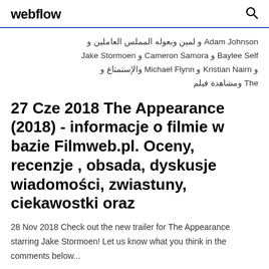webflow
Adam Johnson و لمين وبعوله المملس العاملين و Jake Stormoen و Cameron Samora و Baylee Self و Michael Flynn و Kristian Nairn و والإستمتاع و The ومشاهدة فيلم
27 Cze 2018 The Appearance (2018) - informacje o filmie w bazie Filmweb.pl. Oceny, recenzje , obsada, dyskusje wiadomości, zwiastuny, ciekawostki oraz
28 Nov 2018 Check out the new trailer for The Appearance starring Jake Stormoen! Let us know what you think in the comments below...